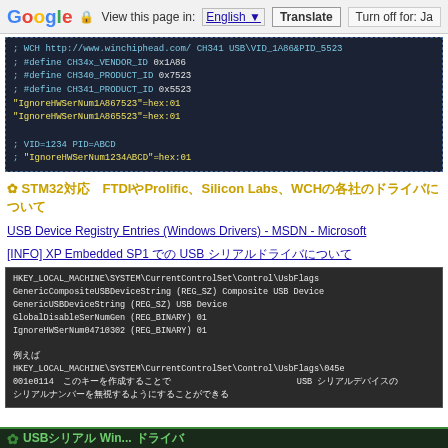Google | View this page in: English [v] | Translate | Turn off for: Ja
[Figure (screenshot): Dark code block showing WCH USB driver registry entries with comments defining CH34x_VENDOR_ID, CH340_PRODUCT_ID, CH341_PRODUCT_ID and IgnoreHWSerNum registry keys]
✿ STM32対応 FTDIやProlific、Silicon Labs、WCHの各社のドライバについて
USB Device Registry Entries (Windows Drivers) - MSDN - Microsoft
[INFO] XP Embedded SP1 での USB シリアルドライバについて
[Figure (screenshot): Dark code block showing HKEY_LOCAL_MACHINE registry path for UsbFlags with GenericCompositeUSBDeviceString, GenericUSBDeviceString, GlobalDisableSerNumGen, IgnoreHWSerNum04710302 entries and Japanese text description]
✿ USBシリアル Win... ドライバ